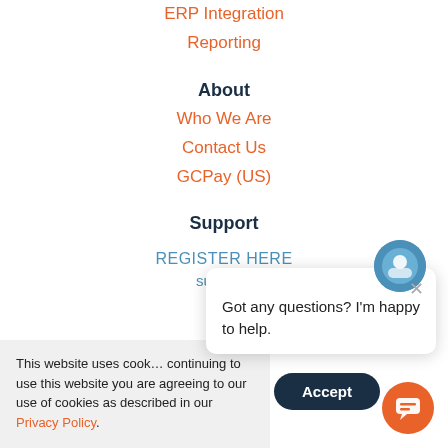ERP Integration
Reporting
About
Who We Are
Contact Us
GCPay (US)
Support
REGISTER HERE
suppo…
This website uses cook… continuing to use this website you are agreeing to our use of cookies as described in our Privacy Policy.
Got any questions? I'm happy to help.